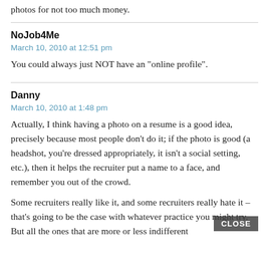photos for not too much money.
NoJob4Me
March 10, 2010 at 12:51 pm
You could always just NOT have an "online profile".
Danny
March 10, 2010 at 1:48 pm
Actually, I think having a photo on a resume is a good idea, precisely because most people don't do it; if the photo is good (a headshot, you're dressed appropriately, it isn't a social setting, etc.), then it helps the recruiter put a name to a face, and remember you out of the crowd.
Some recruiters really like it, and some recruiters really hate it – that's going to be the case with whatever practice you might try. But all the ones that are more or less indifferent